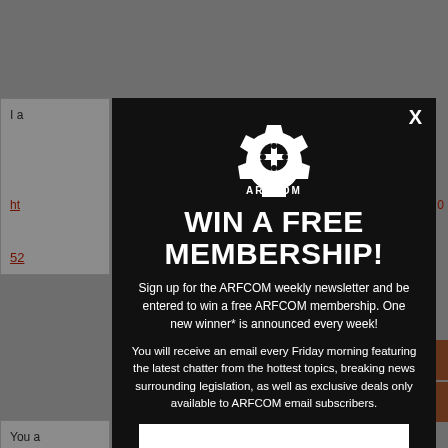[Figure (screenshot): Background website content partially visible behind modal overlay]
[Figure (infographic): ARFCOM modal popup with gear logo, headline WIN A FREE MEMBERSHIP!, subscription text, and email input field]
WIN A FREE MEMBERSHIP!
Sign up for the ARFCOM weekly newsletter and be entered to win a free ARFCOM membership. One new winner* is announced every week!
You will receive an email every Friday morning featuring the latest chatter from the hottest topics, breaking news surrounding legislation, as well as exclusive deals only available to ARFCOM email subscribers.